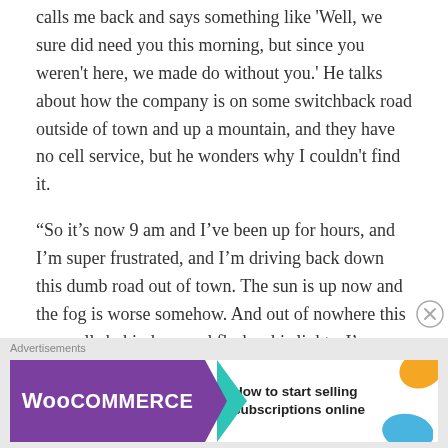calls me back and says something like 'Well, we sure did need you this morning, but since you weren't here, we made do without you.' He talks about how the company is on some switchback road outside of town and up a mountain, and they have no cell service, but he wonders why I couldn't find it.
“So it’s now 9 am and I’ve been up for hours, and I’m super frustrated, and I’m driving back down this dumb road out of town. The sun is up now and the fog is worse somehow. And out of nowhere this cop pulls behind me and flashes his lights. I’m driving in a fog, behind a semi, with a cop behind me, and I’m exhausted. We are on a busy road and there is no safe place to pull over, so I drive for a ways looking
Advertisements
[Figure (other): WooCommerce advertisement banner with purple background, teal arrow shape, and text 'How to start selling subscriptions online' with orange and blue decorative blobs.]